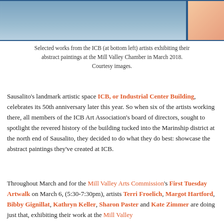[Figure (photo): Two photos side by side: left shows the ICB Industrial Center Building exterior with blue awning and palm trees; right shows an abstract painting with red and orange shapes.]
Selected works from the ICB (at bottom left) artists exhibiting their abstract paintings at the Mill Valley Chamber in March 2018. Courtesy images.
Sausalito's landmark artistic space ICB, or Industrial Center Building, celebrates its 50th anniversary later this year. So when six of the artists working there, all members of the ICB Art Association's board of directors, sought to spotlight the revered history of the building tucked into the Marinship district at the north end of Sausalito, they decided to do what they do best: showcase the abstract paintings they've created at ICB.
Throughout March and for the Mill Valley Arts Commission's First Tuesday Artwalk on March 6, (5:30-7:30pm), artists Terri Froelich, Margot Hartford, Bibby Gignillat, Kathryn Keller, Sharon Paster and Kate Zimmer are doing just that, exhibiting their work at the Mill Valley...